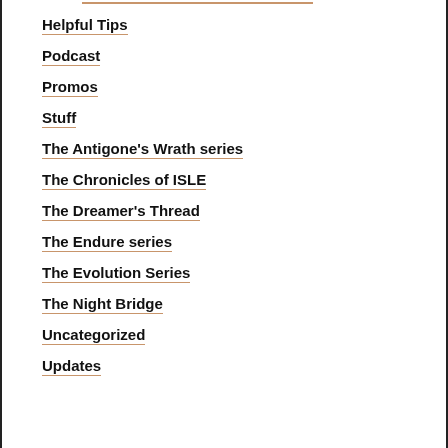Helpful Tips
Podcast
Promos
Stuff
The Antigone's Wrath series
The Chronicles of ISLE
The Dreamer's Thread
The Endure series
The Evolution Series
The Night Bridge
Uncategorized
Updates